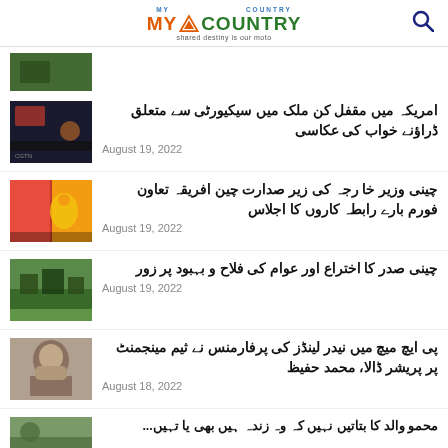MY COUNTRY — shared destiny is our moto
[Figure (photo): Small thumbnail image of a dark night scene]
امریکہ میں مقفل کن ملک میں سیکیورٹی سے متعلق ڈراؤنے خواب کی عکاسی — August 19, 2022
چینی وزیر خا رجہ کی زیر صدارت چین افریقہ تعاون فورم بارے رابطہ کاروں کا اجلاس — August 19, 2022
چینی صدر کا اختراع اور عوام کی فلاح و بہبود پر زور — August 19, 2022
پی ایچ میچ میں نیدر لینڈز کی پرفارمنس نے ثیم مینجمنٹ پر پریشر ڈالا، محمد حفیظ — August 18, 2022
محمد والد کا بتاتیں نہیں کہ وہ زندہ ہیں یا تہیں —